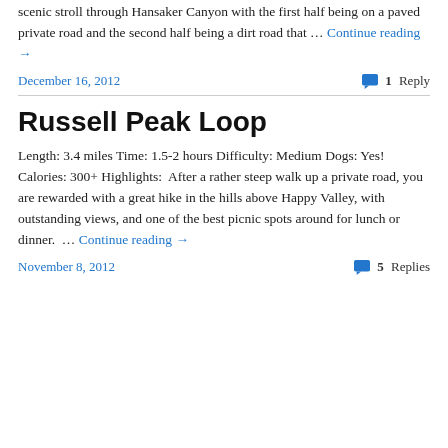scenic stroll through Hansaker Canyon with the first half being on a paved private road and the second half being a dirt road that … Continue reading →
December 16, 2012
1 Reply
Russell Peak Loop
Length: 3.4 miles Time: 1.5-2 hours Difficulty: Medium Dogs: Yes! Calories: 300+ Highlights:  After a rather steep walk up a private road, you are rewarded with a great hike in the hills above Happy Valley, with outstanding views, and one of the best picnic spots around for lunch or dinner.  … Continue reading →
November 8, 2012
5 Replies